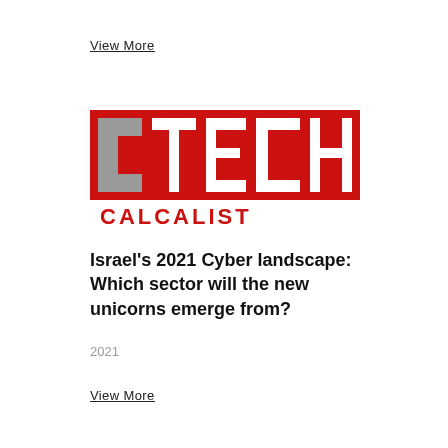View More
[Figure (logo): CTech logo — white bold text on red background with grey C letter, and red partial subtitle text below]
Israel's 2021 Cyber landscape: Which sector will the new unicorns emerge from?
2021
View More